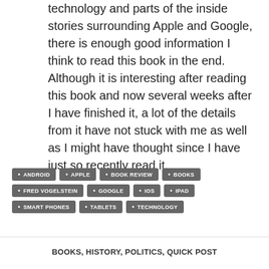technology and parts of the inside stories surrounding Apple and Google, there is enough good information I think to read this book in the end. Although it is interesting after reading this book and now several weeks after I have finished it, a lot of the details from it have not stuck with me as well as I might have thought since I have just so recently read it.
ANDROID
APPLE
BOOK REVIEW
BOOKS
FRED VOGELSTEIN
GOOGLE
IOS
IPAD
SMART PHONES
TABLETS
TECHNOLOGY
BOOKS, HISTORY, POLITICS, QUICK POST